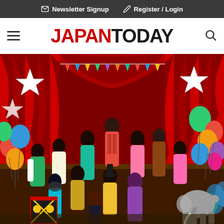Newsletter Signup   Register / Login
JAPANTODAY
[Figure (photo): AKB48 or similar Japanese idol group posing in colorful circus-themed costumes in front of red curtains with star decorations, colorful balloons, bunting flags, and a small elephant prop. The girls wear various outfits including animal prints, a ringmaster costume, and bright colors.]